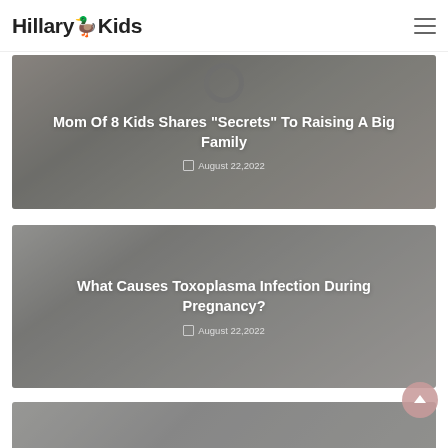HillaryKids
[Figure (photo): Group of children lying on a bed with a hoop toy in the background, overlaid with blog post title and date]
Mom Of 8 Kids Shares "Secrets" To Raising A Big Family
August 22,2022
[Figure (photo): Pregnant woman or person holding a cat, overlaid with blog post title and date]
What Causes Toxoplasma Infection During Pregnancy?
August 22,2022
[Figure (photo): Partial view of a third blog post card at the bottom of the page]